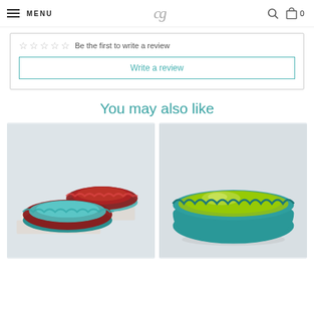MENU | cg logo | search icon | cart 0
Be the first to write a review
Write a review
You may also like
[Figure (photo): Two ceramic flower-shaped bowls with teal exterior and red interior, displayed on white rectangular pedestals]
[Figure (photo): Single large ceramic flower-shaped bowl with lime green interior and teal exterior]